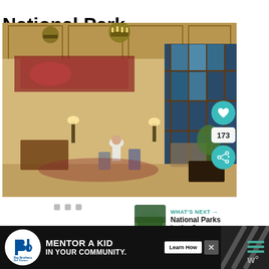National Park (California)
[Figure (photo): Interior of a grand lodge with chandeliers, tall windows, wooden furniture, and people seated at tables]
173
WHAT'S NEXT → National Parks in the San...
[Figure (photo): Small thumbnail of a forested national park scene]
MENTOR A KID IN YOUR COMMUNITY. Learn How
[Figure (logo): Big Brothers Big Sisters of America logo]